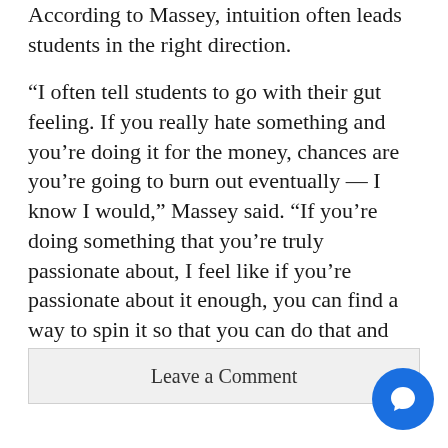According to Massey, intuition often leads students in the right direction.
“I often tell students to go with their gut feeling. If you really hate something and you’re doing it for the money, chances are you’re going to burn out eventually — I know I would,” Massey said. “If you’re doing something that you’re truly passionate about, I feel like if you’re passionate about it enough, you can find a way to spin it so that you can do that and secure a living.”
Leave a Comment
[Figure (other): Blue circular chat/comment button icon]
[Figure (other): Blue circular thumbs-up/like button icon]